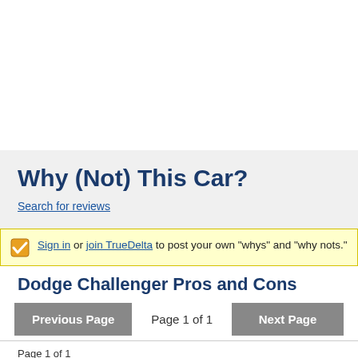Why (Not) This Car?
Search for reviews
Sign in or join TrueDelta to post your own "whys" and "why nots."
Dodge Challenger Pros and Cons
Previous Page   Page 1 of 1   Next Page
Page 1 of 1